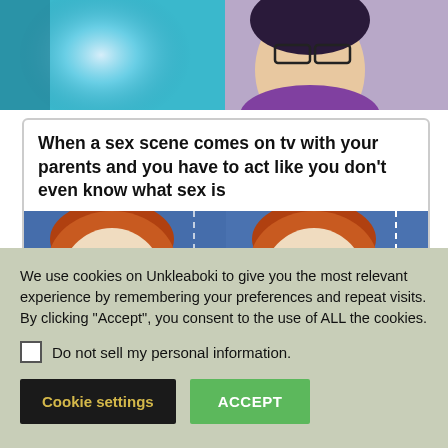[Figure (illustration): Partial screenshot showing two anime-style characters at the top of the page]
[Figure (screenshot): Meme card with bold text 'When a sex scene comes on tv with your parents and you have to act like you don't even know what sex is' above two side-by-side images of a cartoon man's face looking uncomfortable, with 'VIA 9GAG' watermark]
We use cookies on Unkleaboki to give you the most relevant experience by remembering your preferences and repeat visits. By clicking “Accept”, you consent to the use of ALL the cookies.
Do not sell my personal information.
Cookie settings
ACCEPT